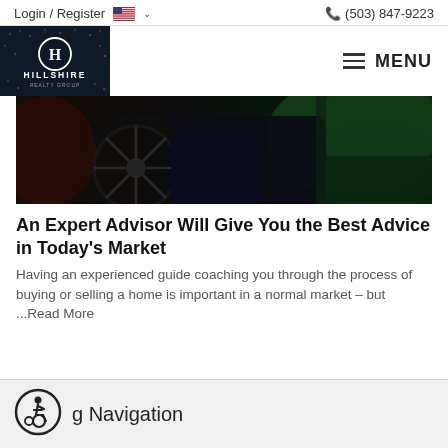Login / Register  (503) 847-9223
[Figure (logo): Hillshire Realty Group logo — dark background with H in circle and HILLSHIRE text]
[Figure (photo): Close-up photo of a wheelchair wheel with person in green jacket in background]
An Expert Advisor Will Give You the Best Advice in Today's Market
Having an experienced guide coaching you through the process of buying or selling a home is important in a normal market – but ...Read More
g Navigation